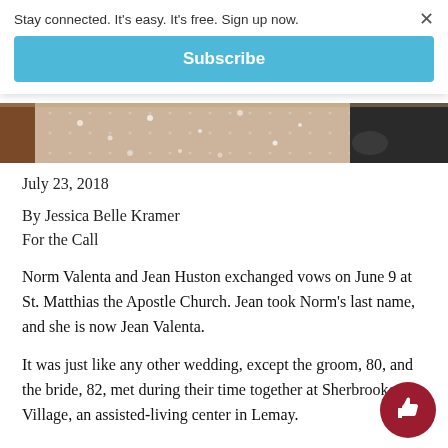Stay connected. It's easy. It's free. Sign up now.
×
Subscribe
[Figure (photo): Bottom portion of a wedding photo showing a bride in a sparkly/sequined dress and groom in dark suit, cropped to show torso/hands area]
July 23, 2018
By Jessica Belle Kramer
For the Call
Norm Valenta and Jean Huston exchanged vows on June 9 at St. Matthias the Apostle Church. Jean took Norm's last name, and she is now Jean Valenta.
It was just like any other wedding, except the groom, 80, and the bride, 82, met during their time together at Sherbrooke Village, an assisted-living center in Lemay.